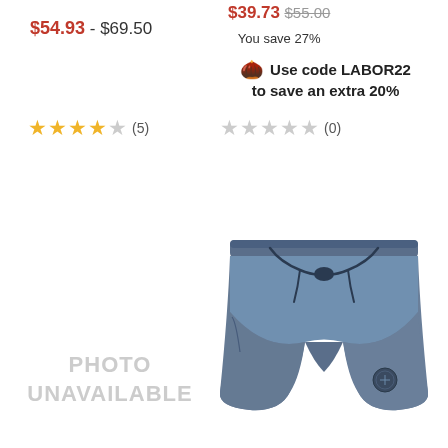$54.93 - $69.50
$39.73  $55.00  You save 27%
🌰 Use code LABOR22 to save an extra 20%
★★★★☆ (5)
☆☆☆☆☆ (0)
PHOTO
UNAVAILABLE
[Figure (photo): Navy blue board shorts with drawstring waist and small circular logo patch on the lower right leg]